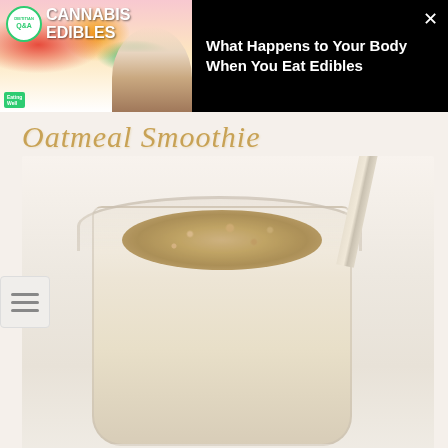[Figure (screenshot): Video ad overlay at top of page. Shows 'Cannabis Edibles' video thumbnail with a dietitian Q&A badge, colorful gummy bears background, woman presenter, EatingWell logo on left side. Right side shows black background with text 'What Happens to Your Body When You Eat Edibles' and an X close button.]
Oatmeal Smoothie
[Figure (photo): Close-up photo of a mason jar oatmeal smoothie with oat toppings sprinkled on top and a striped paper straw inserted. The smoothie is creamy beige/tan colored. Shot from above at an angle on a white marble surface.]